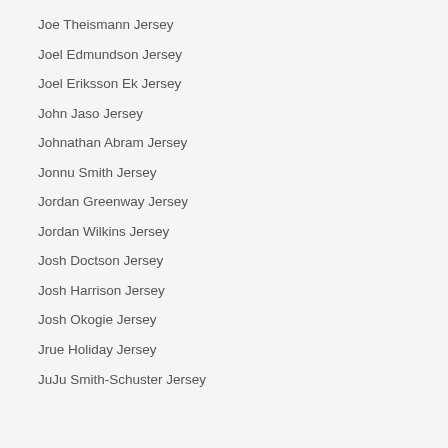Joe Theismann Jersey
Joel Edmundson Jersey
Joel Eriksson Ek Jersey
John Jaso Jersey
Johnathan Abram Jersey
Jonnu Smith Jersey
Jordan Greenway Jersey
Jordan Wilkins Jersey
Josh Doctson Jersey
Josh Harrison Jersey
Josh Okogie Jersey
Jrue Holiday Jersey
JuJu Smith-Schuster Jersey